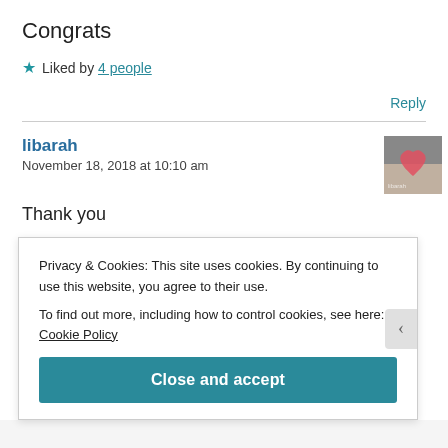Congrats
★ Liked by 4 people
Reply
libarah
November 18, 2018 at 10:10 am
Thank you
Privacy & Cookies: This site uses cookies. By continuing to use this website, you agree to their use.
To find out more, including how to control cookies, see here: Cookie Policy
Close and accept